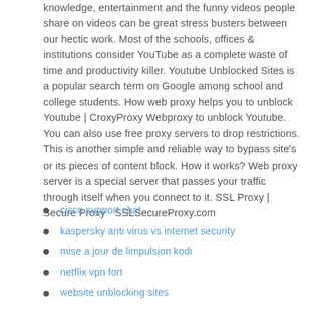knowledge, entertainment and the funny videos people share on videos can be great stress busters between our hectic work. Most of the schools, offices & institutions consider YouTube as a complete waste of time and productivity killer. Youtube Unblocked Sites is a popular search term on Google among school and college students. How web proxy helps you to unblock Youtube | CroxyProxy Webproxy to unblock Youtube. You can also use free proxy servers to drop restrictions. This is another simple and reliable way to bypass site's or its pieces of content block. How it works? Web proxy server is a special server that passes your traffic through itself when you connect to it. SSL Proxy | Secure Proxy - SSLSecureProxy.com
cisco support chat
kaspersky anti virus vs internet security
mise a jour de limpulsion kodi
netflix vpn fort
website unblocking sites